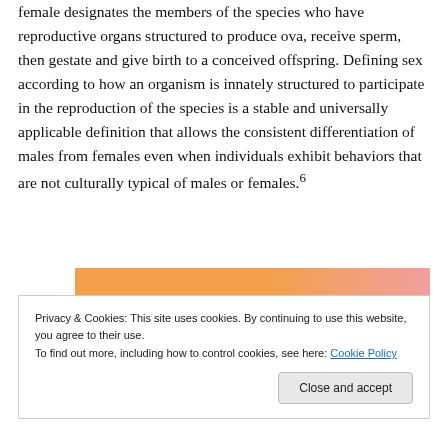female designates the members of the species who have reproductive organs structured to produce ova, receive sperm, then gestate and give birth to a conceived offspring. Defining sex according to how an organism is innately structured to participate in the reproduction of the species is a stable and universally applicable definition that allows the consistent differentiation of males from females even when individuals exhibit behaviors that are not culturally typical of males or females.⁶
[Figure (other): Banner image with orange-to-pink gradient background containing bold text 'in the back.']
Privacy & Cookies: This site uses cookies. By continuing to use this website, you agree to their use.
To find out more, including how to control cookies, see here: Cookie Policy